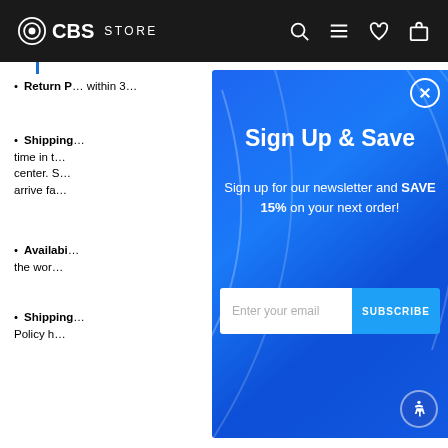CBS STORE
Return Policy: within 3[...]
Shipping: time in the center. S... arrive fa[...]
Availability: the wor[...]
Shipping Policy h[...]
[Figure (screenshot): Blue modal popup with 'Sign Up & Save' newsletter subscription offer showing email input and Subscribe button]
Sign Up & Save
Sign up for our newsletter and SAVE 15% on your next order!